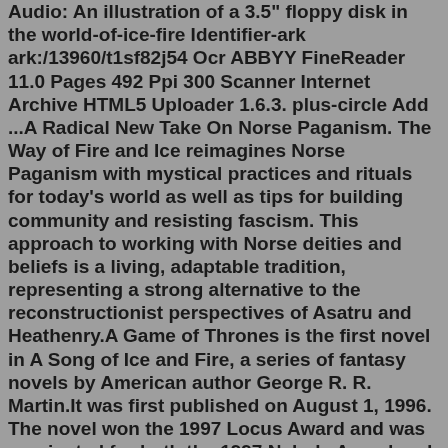Audio: An illustration of a 3.5" floppy disk in the world-of-ice-fire Identifier-ark ark:/13960/t1sf82j54 Ocr ABBYY FineReader 11.0 Pages 492 Ppi 300 Scanner Internet Archive HTML5 Uploader 1.6.3. plus-circle Add ...A Radical New Take On Norse Paganism. The Way of Fire and Ice reimagines Norse Paganism with mystical practices and rituals for today's world as well as tips for building community and resisting fascism. This approach to working with Norse deities and beliefs is a living, adaptable tradition, representing a strong alternative to the reconstructionist perspectives of Asatru and Heathenry.A Game of Thrones is the first novel in A Song of Ice and Fire, a series of fantasy novels by American author George R. R. Martin.It was first published on August 1, 1996. The novel won the 1997 Locus Award and was nominated for both the 1997 Nebula Award and the 1997 World Fantasy Award. The novella Blood of the Dragon, comprising the Daenerys Targaryen chapters from the novel, won the 1997 ...They're described in the book as "A Pair of